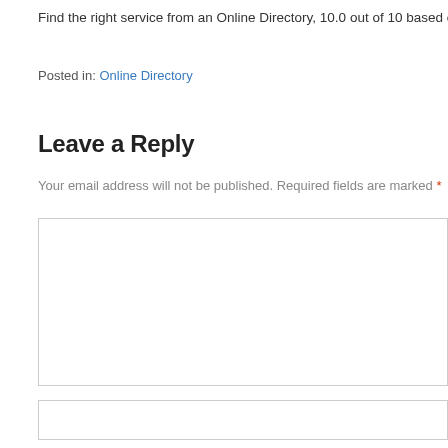Find the right service from an Online Directory, 10.0 out of 10 based on
Posted in: Online Directory
Leave a Reply
Your email address will not be published. Required fields are marked *